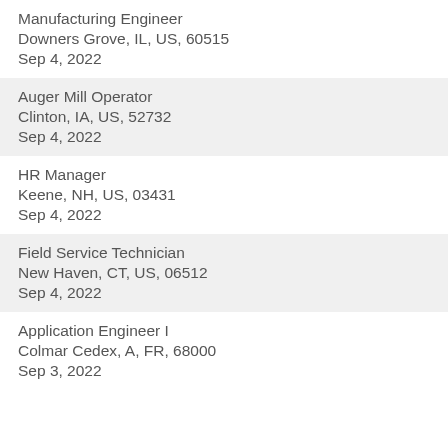Manufacturing Engineer
Downers Grove, IL, US, 60515
Sep 4, 2022
Auger Mill Operator
Clinton, IA, US, 52732
Sep 4, 2022
HR Manager
Keene, NH, US, 03431
Sep 4, 2022
Field Service Technician
New Haven, CT, US, 06512
Sep 4, 2022
Application Engineer I
Colmar Cedex, A, FR, 68000
Sep 3, 2022